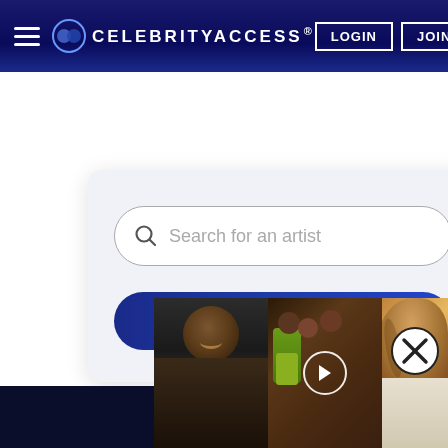[Figure (screenshot): CelebrityAccess website navigation bar with hamburger menu, logo, LOGIN and JOIN buttons on dark blue gradient background]
[Figure (screenshot): Search card with rounded search input field 'Search for an artist' and blue SEARCH button on light gray card background]
[Figure (screenshot): Close (X) button circle icon in bottom right area]
[Figure (photo): Three celebrity photo thumbnails at bottom: Kanye West, group photo with Lil Wayne Nicki Minaj Drake, and Beyonce, with a play button overlay on the center image]